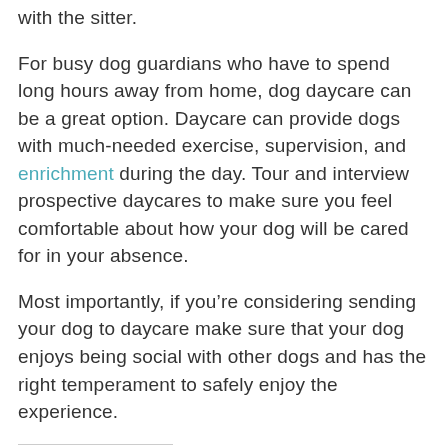with the sitter.
For busy dog guardians who have to spend long hours away from home, dog daycare can be a great option. Daycare can provide dogs with much-needed exercise, supervision, and enrichment during the day. Tour and interview prospective daycares to make sure you feel comfortable about how your dog will be cared for in your absence.
Most importantly, if you’re considering sending your dog to daycare make sure that your dog enjoys being social with other dogs and has the right temperament to safely enjoy the experience.
Share this:
Twitter   Facebook